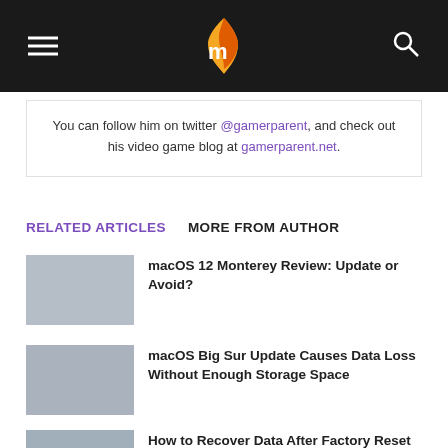Navigation bar with hamburger menu, logo, and search icon
You can follow him on twitter @gamerparent, and check out his video game blog at gamerparent.net.
RELATED ARTICLES   MORE FROM AUTHOR
macOS 12 Monterey Review: Update or Avoid?
macOS Big Sur Update Causes Data Loss Without Enough Storage Space
How to Recover Data After Factory Reset on iPhone